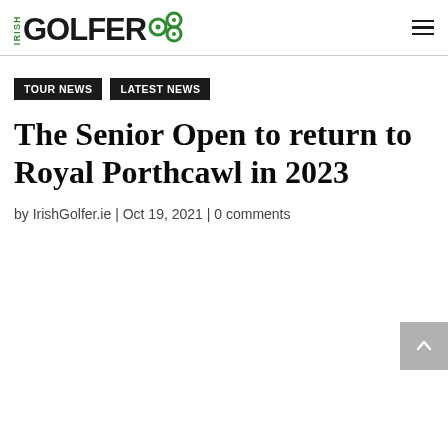IRISH GOLFER
TOUR NEWS
LATEST NEWS
The Senior Open to return to Royal Porthcawl in 2023
by IrishGolfer.ie | Oct 19, 2021 | 0 comments